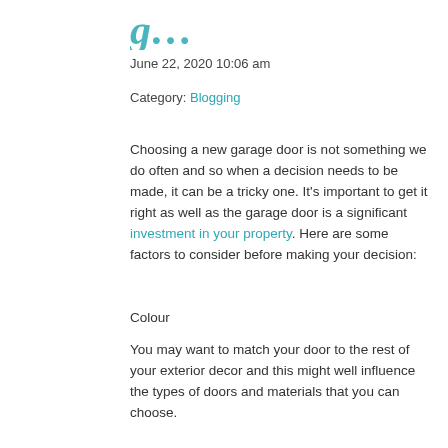[Figure (logo): Partial teal/blue cursive logo text visible at top]
June 22, 2020 10:06 am
Category: Blogging
Choosing a new garage door is not something we do often and so when a decision needs to be made, it can be a tricky one. It's important to get it right as well as the garage door is a significant investment in your property. Here are some factors to consider before making your decision:
Colour
You may want to match your door to the rest of your exterior decor and this might well influence the types of doors and materials that you can choose.